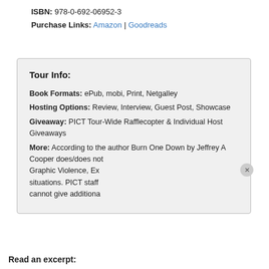ISBN: 978-0-692-06952-3
Purchase Links: Amazon | Goodreads
Tour Info:
Book Formats: ePub, mobi, Print, Netgalley
Hosting Options: Review, Interview, Guest Post, Showcase
Giveaway: PICT Tour-Wide Rafflecopter & Individual Host Giveaways
More: According to the author Burn One Down by Jeffrey A Cooper does/does not contain Graphic Violence, Exp... situations. PICT staff cannot give additiona...
[Figure (screenshot): Popup overlay showing 'Anniversary Giveaway | HOSTS' with 'Enter Giveaway >' link and close button]
Read an excerpt: